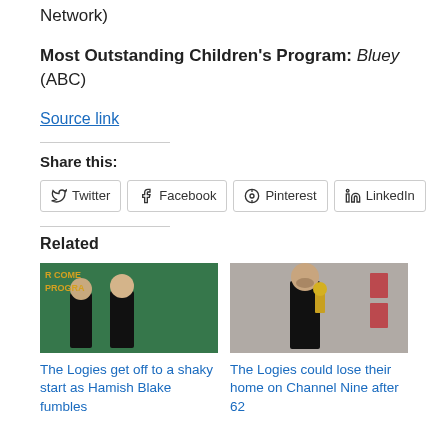Network)
Most Outstanding Children's Program: Bluey (ABC)
Source link
Share this:
Twitter
Facebook
Pinterest
LinkedIn
Related
[Figure (photo): Two men in tuxedos on stage at the Logies in front of a green backdrop with gold text.]
The Logies get off to a shaky start as Hamish Blake fumbles
[Figure (photo): Man in black tuxedo holding a Logie award trophy, posing in front of a branded backdrop.]
The Logies could lose their home on Channel Nine after 62